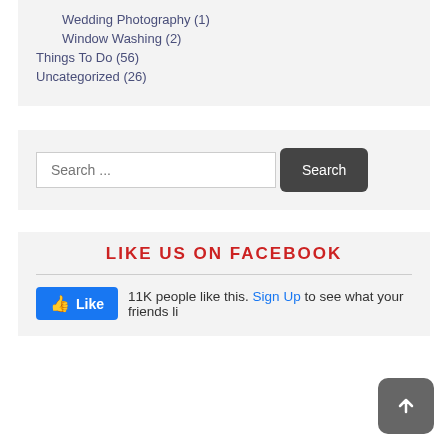Wedding Photography (1)
Window Washing (2)
Things To Do (56)
Uncategorized (26)
Search ...
LIKE US ON FACEBOOK
11K people like this. Sign Up to see what your friends li...